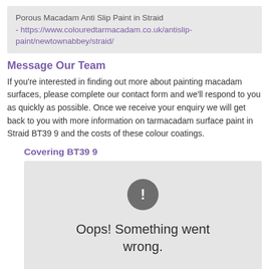Porous Macadam Anti Slip Paint in Straid - https://www.colouredtarmacadam.co.uk/antislip-paint/newtownabbey/straid/
Message Our Team
If you're interested in finding out more about painting macadam surfaces, please complete our contact form and we'll respond to you as quickly as possible. Once we receive your enquiry we will get back to you with more information on tarmacadam surface paint in Straid BT39 9 and the costs of these colour coatings.
Covering BT39 9
[Figure (other): Embedded map widget showing an error state: a dark gray circle with exclamation mark icon and text 'Oops! Something went wrong.']